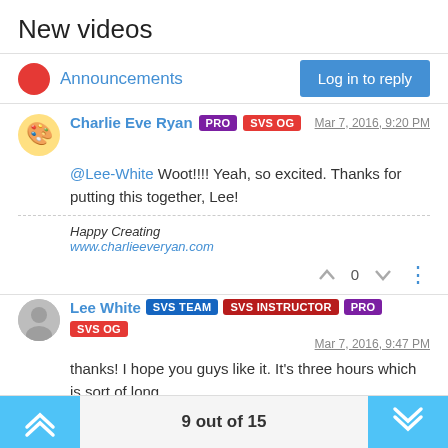New videos
Announcements
Charlie Eve Ryan PRO SVS OG  Mar 7, 2016, 9:20 PM
@Lee-White Woot!!!! Yeah, so excited. Thanks for putting this together, Lee!
Happy Creating
www.charlieeveryan.com
Lee White SVS TEAM SVS INSTRUCTOR PRO SVS OG  Mar 7, 2016, 9:47 PM
thanks! I hope you guys like it. It's three hours which is sort of long.
9 out of 15